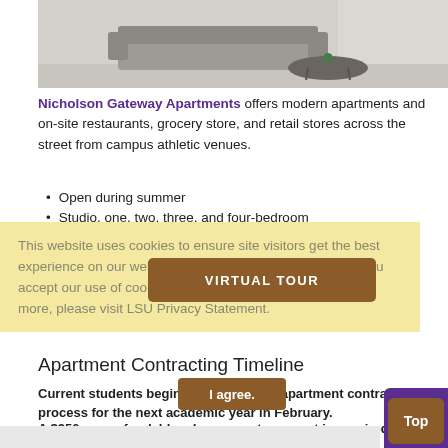[Figure (photo): Interior photo of a modern apartment living room with gray sectional sofa and coffee table]
Nicholson Gateway Apartments offers modern apartments and on-site restaurants, grocery store, and retail stores across the street from campus athletic venues.
Open during summer
Studio, one, two, three, and four-bedroom apartments
This website uses cookies to ensure site visitors get the best experience on our website. By continuing to use this site, you accept our use of cookies and Privacy Statement. To learn more, please visit LSU Privacy Statement.
Apartment Contracting Timeline
Current students begin the on-campus apartment contracting process for the next academic year in February.
A $250 non-refundable advance rent payment is required to secure an apartment space.